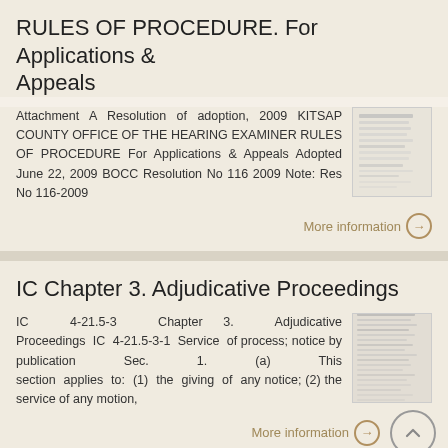RULES OF PROCEDURE. For Applications & Appeals
Attachment A Resolution of adoption, 2009 KITSAP COUNTY OFFICE OF THE HEARING EXAMINER RULES OF PROCEDURE For Applications & Appeals Adopted June 22, 2009 BOCC Resolution No 116 2009 Note: Res No 116-2009
More information →
IC Chapter 3. Adjudicative Proceedings
IC 4-21.5-3 Chapter 3. Adjudicative Proceedings IC 4-21.5-3-1 Service of process; notice by publication Sec. 1. (a) This section applies to: (1) the giving of any notice; (2) the service of any motion,
More information →